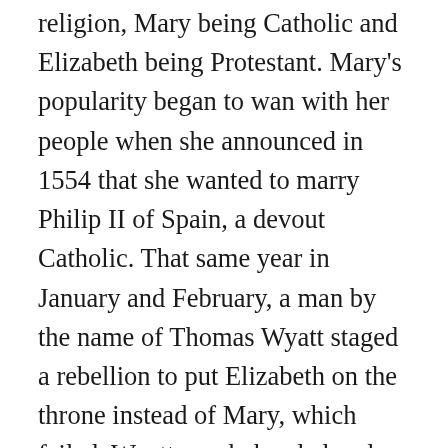religion, Mary being Catholic and Elizabeth being Protestant. Mary's popularity began to wan with her people when she announced in 1554 that she wanted to marry Philip II of Spain, a devout Catholic. That same year in January and February, a man by the name of Thomas Wyatt staged a rebellion to put Elizabeth on the throne instead of Mary, which failed. Wyatt was beheaded and Elizabeth was interrogated. She was imprisoned in the Tower of London on March 18th; she would later be transferred to Woodstock on May 22nd where she spent a year under house arrest in the custody of Sir Henry Bedingfield.